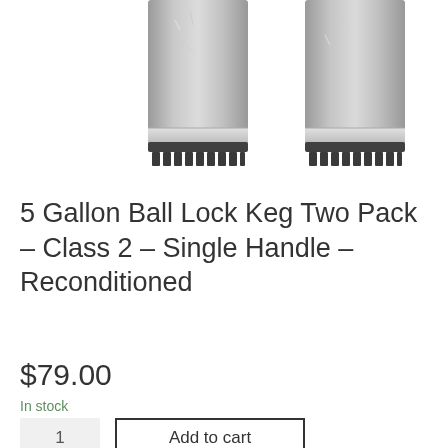[Figure (photo): Two stainless steel 5-gallon ball lock kegs shown upside down, revealing their black rubber bases with notched teeth pattern. The kegs have a metallic silver/gray cylindrical body with slight weathering.]
5 Gallon Ball Lock Keg Two Pack – Class 2 – Single Handle – Reconditioned
$79.00
In stock
1
Add to cart